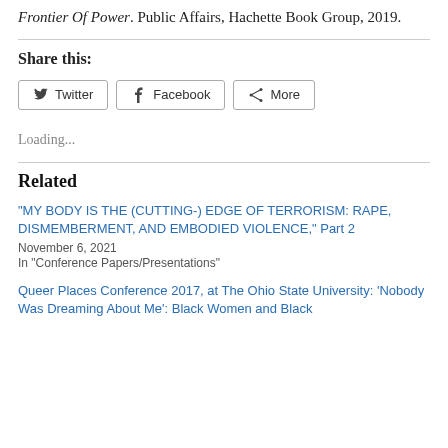Frontier Of Power. Public Affairs, Hachette Book Group, 2019.
Share this:
Loading...
Related
“MY BODY IS THE (CUTTING-) EDGE OF TERRORISM: RAPE, DISMEMBERMENT, AND EMBODIED VIOLENCE,” Part 2
November 6, 2021
In “Conference Papers/Presentations”
Queer Places Conference 2017, at The Ohio State University: ‘Nobody Was Dreaming About Me’: Black Women and Black